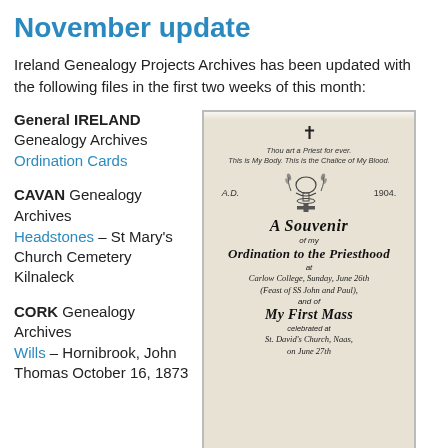November update
Ireland Genealogy Projects Archives has been updated with the following files in the first two weeks of this month:
General IRELAND Genealogy Archives
Ordination Cards
CAVAN Genealogy Archives
Headstones – St Mary's Church Cemetery Kilnaleck
CORK Genealogy Archives
Wills – Hornibrook, John Thomas October 16, 1873
[Figure (photo): An ordination card from A.D. 1904 showing a chalice with decorative elements. Text reads: 'Thou art a Priest for ever. This is My Body. This is the Chalice of My Blood.' A Souvenir of my Ordination to the Priesthood at Carlow College, Sunday, June 26th (Feast of SS John and Paul), and of My First Mass celebrated at St. David's Church, Naas, on June 27th]